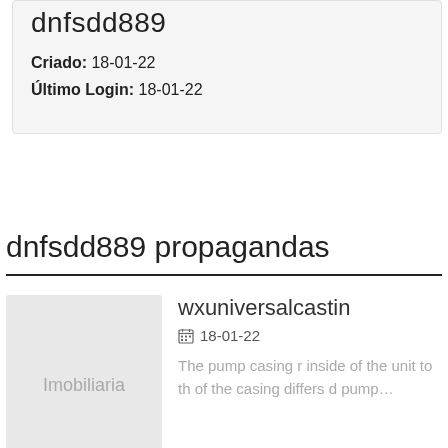dnfsdd889
Criado: 18-01-22
Último Login: 18-01-22
dnfsdd889 propagandas
wxuniversalcastin
18-01-22
[Figure (illustration): Placeholder image with text 'Imobiliaria']
The pump casing r inside of the unit to th of the casing differs d pump…